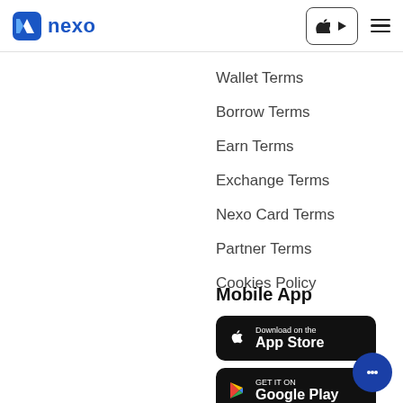[Figure (logo): Nexo logo with blue N icon and blue 'nexo' text]
[Figure (screenshot): App store button with Apple and Play store icons in a rounded rectangle border]
Help Center
Contacts
Privacy Policy
Terms & Conditions
Wallet Terms
Borrow Terms
Earn Terms
Exchange Terms
Nexo Card Terms
Partner Terms
Cookies Policy
Mobile App
[Figure (screenshot): Download on the App Store button (black rounded rectangle with Apple logo)]
[Figure (screenshot): GET IT ON Google Play button (black rounded rectangle with Play logo)]